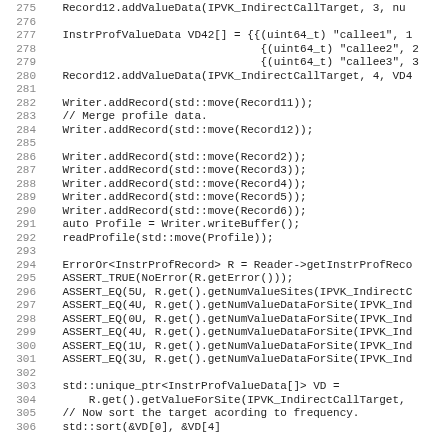[Figure (screenshot): Source code listing (C++) with line numbers 275-306, showing code for profile data merging using Writer.addRecord, ErrorOr, ASSERT_EQ, and std::unique_ptr calls.]